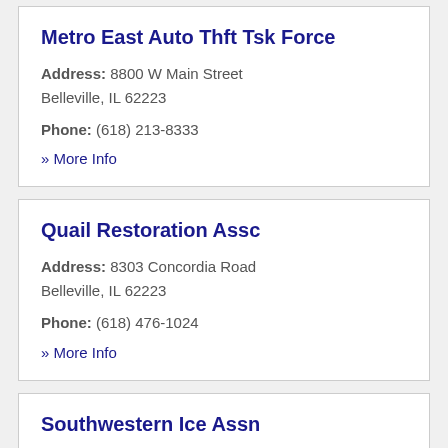Metro East Auto Thft Tsk Force
Address: 8800 W Main Street Belleville, IL 62223
Phone: (618) 213-8333
» More Info
Quail Restoration Assc
Address: 8303 Concordia Road Belleville, IL 62223
Phone: (618) 476-1024
» More Info
Southwestern Ice Assn
Address: 100 N 34th St...